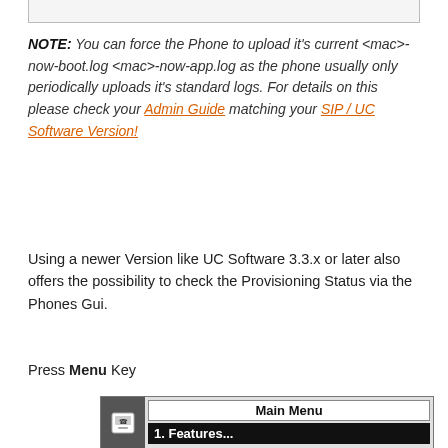NOTE: You can force the Phone to upload it's current <mac>-now-boot.log <mac>-now-app.log as the phone usually only periodically uploads it's standard logs. For details on this please check your Admin Guide matching your SIP / UC Software Version!
Using a newer Version like UC Software 3.3.x or later also offers the possibility to check the Provisioning Status via the Phones Gui.
Press Menu Key
[Figure (screenshot): Phone screen showing Main Menu with '1. Features...' highlighted in black]